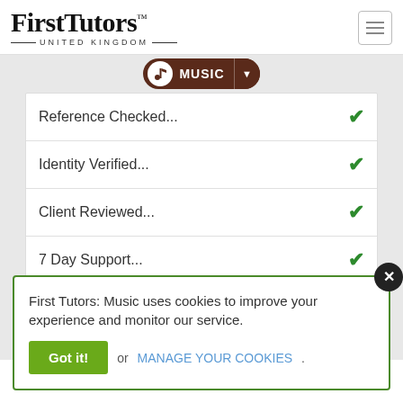[Figure (logo): FirstTutors United Kingdom logo with hamburger menu icon]
[Figure (other): Music navigation bar with music note icon, MUSIC label, and dropdown arrow]
| Item | Status |
| --- | --- |
| Reference Checked... | ✓ |
| Identity Verified... | ✓ |
| Client Reviewed... | ✓ |
| 7 Day Support... | ✓ |
First Tutors: Music uses cookies to improve your experience and monitor our service.
Got it! or MANAGE YOUR COOKIES.